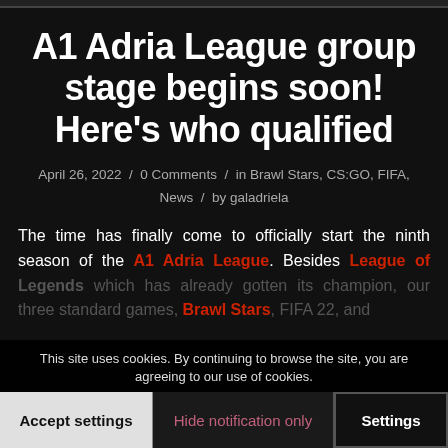A1 Adria League group stage begins soon! Here's who qualified
April 26, 2022 / 0 Comments / in Brawl Stars, CS:GO, FIFA, News / by galadriela
The time has finally come to officially start the ninth season of the A1 Adria League. Besides League of Legends which has already gotten its champion, our three standard games, Brawl Stars, FIFA 22, and CS:GO are set to begin division. The qualification for our games has finished and we are bringing you a recap of all the qualified players and
This site uses cookies. By continuing to browse the site, you are agreeing to our use of cookies.
Accept settings | Hide notification only | Settings